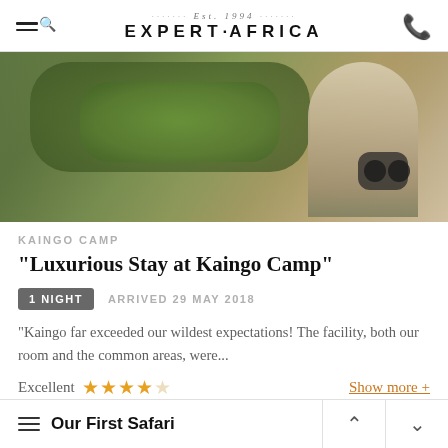Est. 1994 EXPERT·AFRICA
[Figure (photo): A person crouching over green vegetation, wearing khaki clothing and carrying binoculars and a camera, likely a safari guide or naturalist.]
KAINGO CAMP
"Luxurious Stay at Kaingo Camp"
1 NIGHT   ARRIVED 29 MAY 2018
"Kaingo far exceeded our wildest expectations! The facility, both our room and the common areas, were...
Excellent ★★★★☆   Show more +
[Figure (photo): Partial view of the next review's hero image, showing wildlife or safari scene.]
Our First Safari